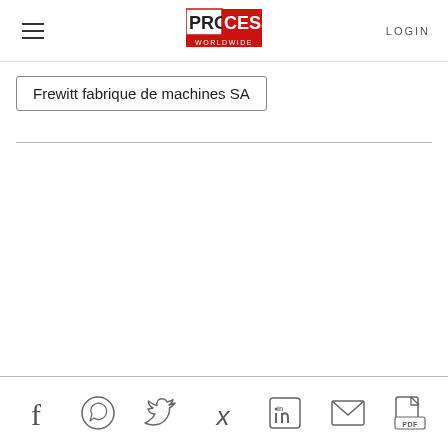PROCESS WORLDWIDE | LOGIN
Frewitt fabrique de machines SA
Social share icons: Facebook, WhatsApp, Twitter, Xing, LinkedIn, Email, PDF